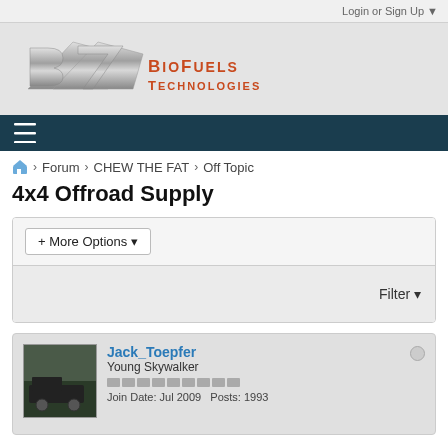Login or Sign Up ▼
[Figure (logo): BioFuels Technologies logo with chrome B7 emblem and orange text]
[Figure (infographic): Dark teal navigation bar with hamburger menu icon]
🏠 > Forum > CHEW THE FAT > Off Topic
4x4 Offroad Supply
+ More Options ▼
Filter ▼
Jack_Toepfer
Young Skywalker
Join Date: Jul 2009  Posts: 1993